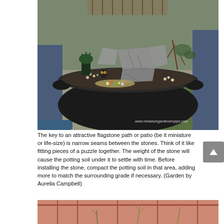[Figure (photo): Overhead view of a large black cauldron-shaped pot containing a miniature fairy garden with flagstone path, small plants, colorful pebbles, and a tiny owl figurine. Watermark reads www.miniaturegardenshoppe.com. Person's legs and denim jeans visible at edges.]
The key to an attractive flagstone path or patio (be it miniature or life-size) is narrow seams between the stones. Think of it like fitting pieces of a puzzle together. The weight of the stone will cause the potting soil under it to settle with time. Before installing the stone, compact the potting soil in that area, adding more to match the surrounding grade if necessary. (Garden by Aurelia Campbell)
[Figure (photo): Partial view of a miniature garden scene with small plants and a red/brown wooden frame or tray, partially visible at bottom of page.]